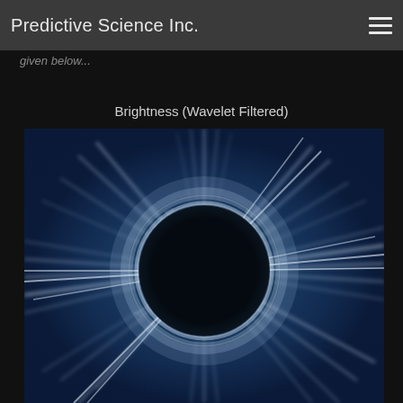Predictive Science Inc.
given below...
Brightness (Wavelet Filtered)
[Figure (photo): Solar corona image showing wavelet-filtered brightness. A dark circular disk (occulter) is centered in the frame, surrounded by bright white and silver coronal streamers radiating outward against a deep blue-black background. The corona structure shows detailed ray-like features extending in all directions from the solar disk.]